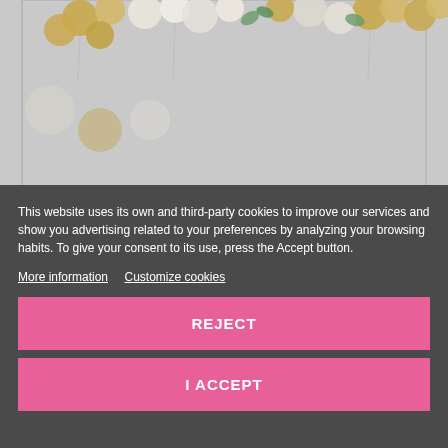[Figure (photo): Photo of balloon garland with gold, white, and green balloons against a light gray background, partially visible behind cookie consent overlay.]
This website uses its own and third-party cookies to improve our services and show you advertising related to your preferences by analyzing your browsing habits. To give your consent to its use, press the Accept button.
More information   Customize cookies
REJECT
I ACCEPT